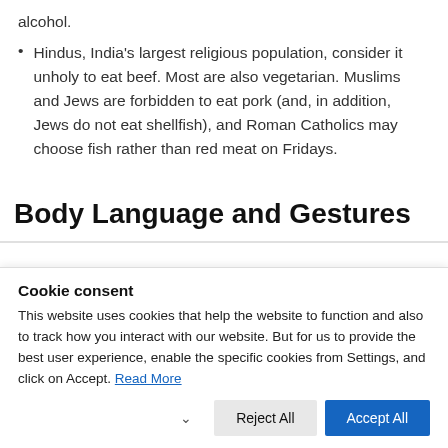alcohol.
Hindus, India's largest religious population, consider it unholy to eat beef. Most are also vegetarian. Muslims and Jews are forbidden to eat pork (and, in addition, Jews do not eat shellfish), and Roman Catholics may choose fish rather than red meat on Fridays.
Body Language and Gestures
Cookie consent
This website uses cookies that help the website to function and also to track how you interact with our website. But for us to provide the best user experience, enable the specific cookies from Settings, and click on Accept. Read More